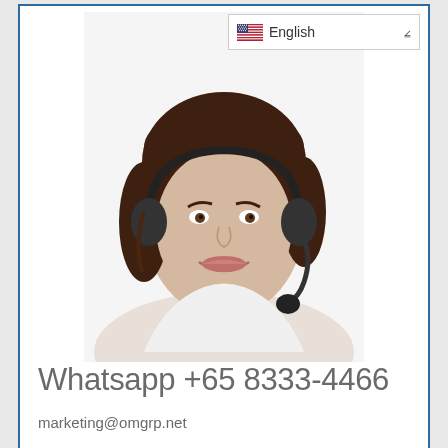[Figure (photo): Woman with headset/microphone smiling, customer service representative]
English
Whatsapp +65 8333-4466
marketing@omgrp.net
Latest News